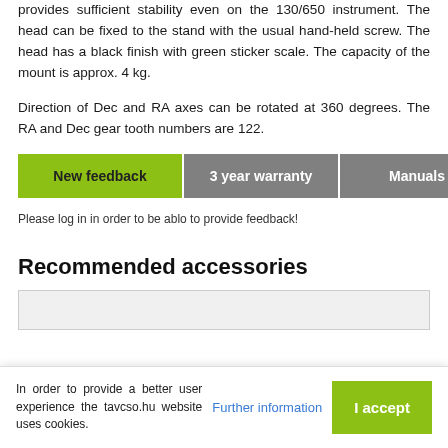provides sufficient stability even on the 130/650 instrument. The head can be fixed to the stand with the usual hand-held screw. The head has a black finish with green sticker scale. The capacity of the mount is approx. 4 kg.
Direction of Dec and RA axes can be rotated at 360 degrees. The RA and Dec gear tooth numbers are 122.
New feedback
3 year warranty
Manuals
Please log in in order to be ablo to provide feedback!
Recommended accessories
In order to provide a better user experience the tavcso.hu website uses cookies.
Further information
I accept